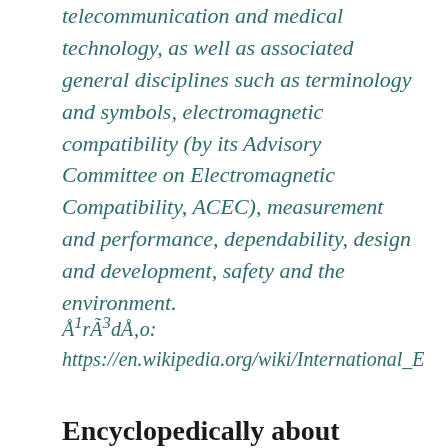telecommunication and medical technology, as well as associated general disciplines such as terminology and symbols, electromagnetic compatibility (by its Advisory Committee on Electromagnetic Compatibility, ACEC), measurement and performance, dependability, design and development, safety and the environment.
Å¹rÃ³dÅ‚o: https://en.wikipedia.org/wiki/International_E...
Encyclopedically about